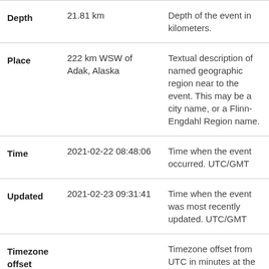| Field | Value | Description |
| --- | --- | --- |
| Depth | 21.81 km | Depth of the event in kilometers. |
| Place | 222 km WSW of Adak, Alaska | Textual description of named geographic region near to the event. This may be a city name, or a Flinn-Engdahl Region name. |
| Time | 2021-02-22 08:48:06 | Time when the event occurred. UTC/GMT |
| Updated | 2021-02-23 09:31:41 | Time when the event was most recently updated. UTC/GMT |
| Timezone offset |  | Timezone offset from UTC in minutes at the |